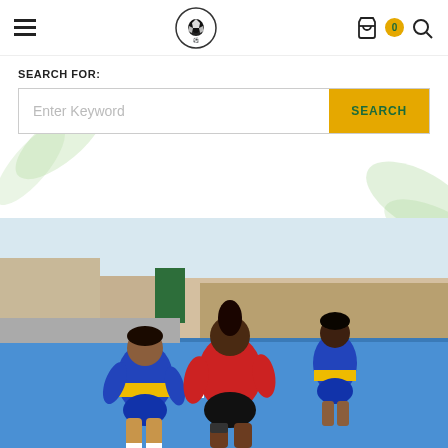Navigation header with hamburger menu, soccer logo, cart icon with badge 0, and search icon
SEARCH FOR:
Enter Keyword  SEARCH
[Figure (photo): Women playing soccer/futsal on an outdoor blue court. One player in red shirt and black shorts dribbling against a defender in blue and yellow Boca Juniors-style kit. Another player in blue and yellow kit in background.]